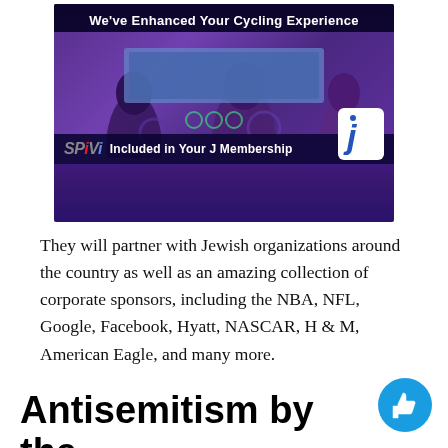[Figure (photo): SPiVi cycling advertisement showing indoor cyclists from behind with screens, text 'We've Enhanced Your Cycling Experience' at top and 'SPiVi Included in Your J Membership' banner, with J logo in bottom right.]
They will partner with Jewish organizations around the country as well as an amazing collection of corporate sponsors, including the NBA, NFL, Google, Facebook, Hyatt, NASCAR, H & M, American Eagle, and many more.
Antisemitism by the